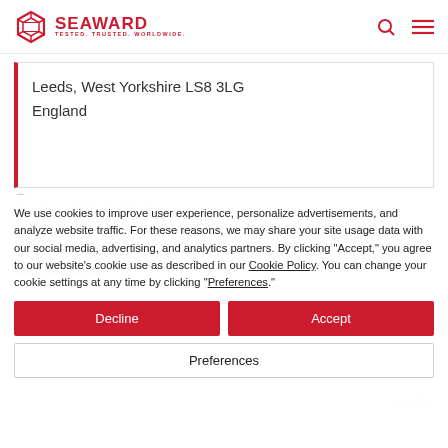[Figure (logo): Seaward logo with red hexagonal box icon and red text reading SEAWARD with tagline TESTED. TRUSTED. WORLDWIDE.]
Leeds, West Yorkshire LS8 3LG
England
We use cookies to improve user experience, personalize advertisements, and analyze website traffic. For these reasons, we may share your site usage data with our social media, advertising, and analytics partners. By clicking "Accept," you agree to our website's cookie use as described in our Cookie Policy. You can change your cookie settings at any time by clicking "Preferences."
Decline
Accept
Preferences